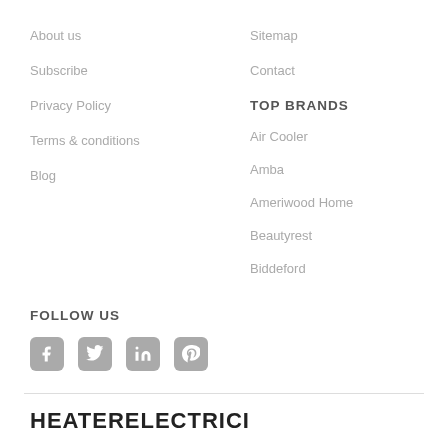About us
Subscribe
Privacy Policy
Terms & conditions
Blog
Sitemap
Contact
TOP BRANDS
Air Cooler
Amba
Ameriwood Home
Beautyrest
Biddeford
FOLLOW US
[Figure (infographic): Social media icons: Facebook, Twitter, LinkedIn, Pinterest]
HEATERELECTRICI